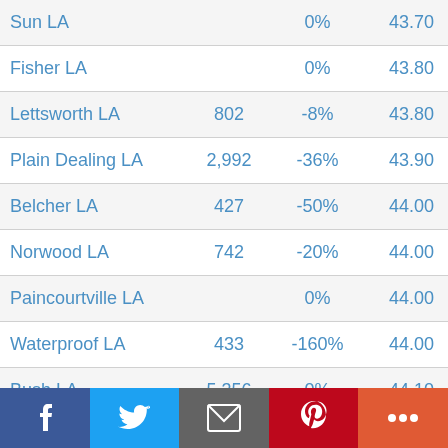| Location | Population | Change | Score |
| --- | --- | --- | --- |
| Sun LA |  | 0% | 43.70 |
| Fisher LA |  | 0% | 43.80 |
| Lettsworth LA | 802 | -8% | 43.80 |
| Plain Dealing LA | 2,992 | -36% | 43.90 |
| Belcher LA | 427 | -50% | 44.00 |
| Norwood LA | 742 | -20% | 44.00 |
| Paincourtville LA |  | 0% | 44.00 |
| Waterproof LA | 433 | -160% | 44.00 |
| Bush LA | 5,356 | 0% | 44.10 |
| Hackberry LA | 1,181 | -6% | 44.10 |